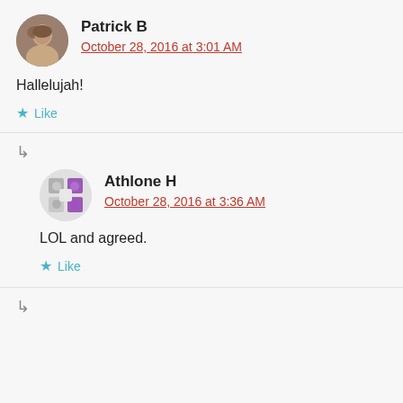Patrick B
October 28, 2016 at 3:01 AM
Hallelujah!
Like
↳
Athlone H
October 28, 2016 at 3:36 AM
LOL and agreed.
Like
↳